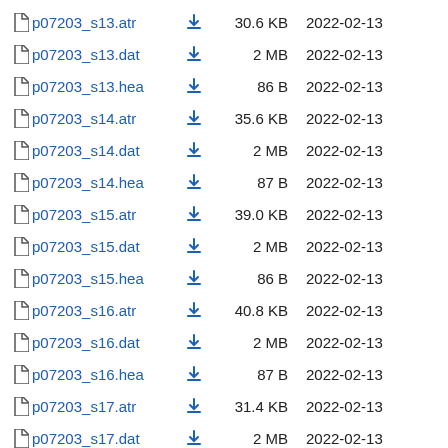p07203_s13.atr  30.6 KB  2022-02-13
p07203_s13.dat  2 MB  2022-02-13
p07203_s13.hea  86 B  2022-02-13
p07203_s14.atr  35.6 KB  2022-02-13
p07203_s14.dat  2 MB  2022-02-13
p07203_s14.hea  87 B  2022-02-13
p07203_s15.atr  39.0 KB  2022-02-13
p07203_s15.dat  2 MB  2022-02-13
p07203_s15.hea  86 B  2022-02-13
p07203_s16.atr  40.8 KB  2022-02-13
p07203_s16.dat  2 MB  2022-02-13
p07203_s16.hea  87 B  2022-02-13
p07203_s17.atr  31.4 KB  2022-02-13
p07203_s17.dat  2 MB  2022-02-13